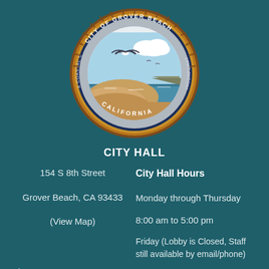[Figure (logo): Circular seal of the City of Grover Beach, California. Outer ring with text 'CITY OF GROVER BEACH' at top and 'CALIFORNIA' at bottom, with a decorative serrated bronze/copper border. Inner circle shows a coastal beach scene with a seagull in flight, sand dunes, ocean water, and white clouds. Text 'A COASTAL COMMUNITY' on the left and 'INCORPORATED 1959' on the right inside the ring.]
CITY HALL
154 S 8th Street
City Hall Hours
Grover Beach, CA 93433
Monday through Thursday
(View Map)
8:00 am to 5:00 pm
Friday (Lobby is Closed, Staff still available by email/phone)
Phone: 805-473-4550